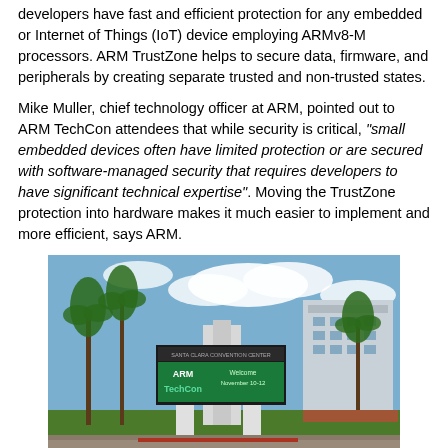developers have fast and efficient protection for any embedded or Internet of Things (IoT) device employing ARMv8-M processors. ARM TrustZone helps to secure data, firmware, and peripherals by creating separate trusted and non-trusted states.
Mike Muller, chief technology officer at ARM, pointed out to ARM TechCon attendees that while security is critical, "small embedded devices often have limited protection or are secured with software-managed security that requires developers to have significant technical expertise". Moving the TrustZone protection into hardware makes it much easier to implement and more efficient, says ARM.
[Figure (photo): Outdoor photo of the Santa Clara Convention Center sign displaying ARM TechCon branding with 'Welcome November 10-12' text. Palm trees and building visible in background under blue sky with clouds.]